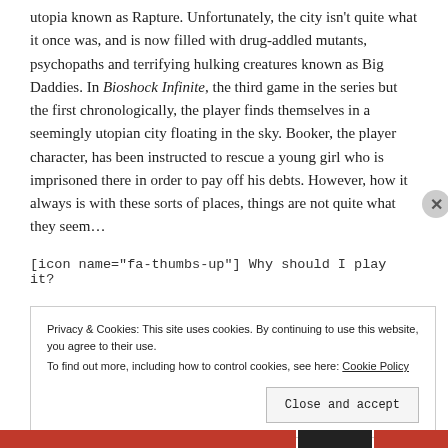utopia known as Rapture. Unfortunately, the city isn't quite what it once was, and is now filled with drug-addled mutants, psychopaths and terrifying hulking creatures known as Big Daddies. In Bioshock Infinite, the third game in the series but the first chronologically, the player finds themselves in a seemingly utopian city floating in the sky. Booker, the player character, has been instructed to rescue a young girl who is imprisoned there in order to pay off his debts. However, how it always is with these sorts of places, things are not quite what they seem...
[icon name="fa-thumbs-up"] Why should I play it?
Privacy & Cookies: This site uses cookies. By continuing to use this website, you agree to their use. To find out more, including how to control cookies, see here: Cookie Policy
Close and accept